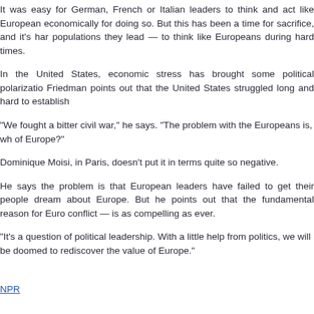It was easy for German, French or Italian leaders to think and act like Europeans when it was rewarding economically for doing so. But this has been a time for sacrifice, and it's hard for leaders — and the populations they lead — to think like Europeans during hard times.
In the United States, economic stress has brought some political polarization. But Friedman points out that the United States struggled long and hard to establish a national identity.
"We fought a bitter civil war," he says. "The problem with the Europeans is, who is going to fight for the idea of Europe?"
Dominique Moisi, in Paris, doesn't put it in terms quite so negative.
He says the problem is that European leaders have failed to get their people to dream about Europe. But he points out that the fundamental reason for Europe — to prevent conflict — is as compelling as ever.
"It's a question of political leadership. With a little help from politics, we will be almost doomed to rediscover the value of Europe."
NPR
09.07.2012